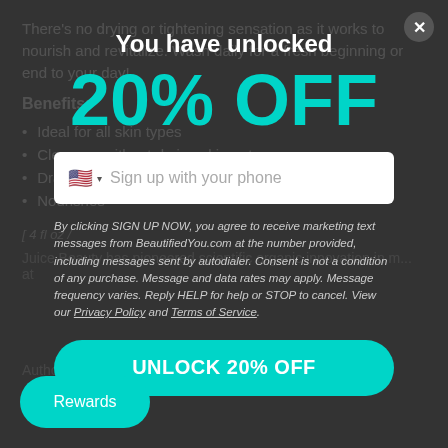There's no drying or tightening sensation as it works to nourish and revitalize. Wash daily for a fresh beginning or end to your day!
Benefits:
Ideal for all skin types
Cleanses without drying skin out
Draws away impurities
Nourishes
[ 4 fl oz /
Juice Beauty has pioneered scientific organic innovation in m... at
Autho... ticity
You have unlocked
20% OFF
Sign up with your phone
By clicking SIGN UP NOW, you agree to receive marketing text messages from BeautifiedYou.com at the number provided, including messages sent by autodialer. Consent is not a condition of any purchase. Message and data rates may apply. Message frequency varies. Reply HELP for help or STOP to cancel. View our Privacy Policy and Terms of Service.
UNLOCK 20% OFF
Rewards